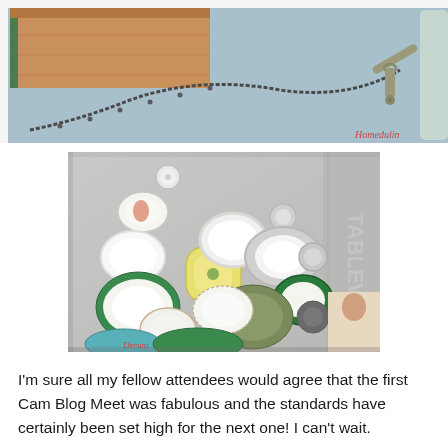[Figure (photo): Top photo showing a brown cardboard box, a silver pocket watch chain and fob on a light blue surface, with part of a glass or vase on the right edge.]
[Figure (photo): Photo of an open magazine or catalog spread showing various plates and circular dishware items in different sizes and colors (white, green, teal, yellow) arranged on a grey background page.]
I'm sure all my fellow attendees would agree that the first Cam Blog Meet was fabulous and the standards have certainly been set high for the next one! I can't wait.